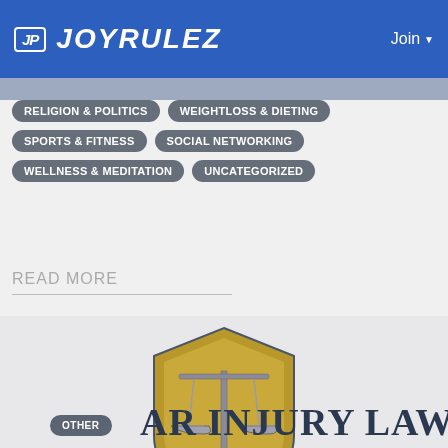JOYRULEZ — Join
RELIGION & POLITICS
WEIGHTLOSS & DIETING
SPORTS & FITNESS
SOCIAL NETWORKING
WELLNESS & MEDITATION
UNCATEGORIZED
READ MORE
[Figure (logo): Scales of justice logo with gold shield, silver balance scales, and text 'AR INJURY LAW' below]
OTHER